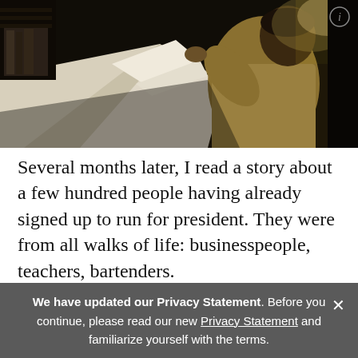[Figure (photo): Person in a yellow/tan shirt sitting at a desk covered with large paper drawings/blueprints in a dim office environment, reviewing documents]
Several months later, I read a story about a few hundred people having already signed up to run for president. They were from all walks of life: businesspeople, teachers, bartenders.

Then I remembered Petyo from Iowa. He only lives about
We have updated our Privacy Statement. Before you continue, please read our new Privacy Statement and familiarize yourself with the terms.